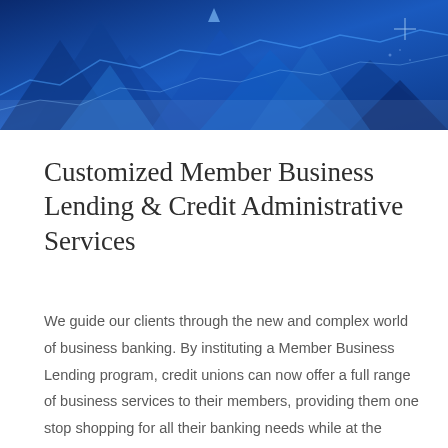[Figure (illustration): Blue decorative header banner with abstract mountain/triangle shapes, chart lines, and geometric patterns in various shades of blue]
Customized Member Business Lending & Credit Administrative Services
We guide our clients through the new and complex world of business banking. By instituting a Member Business Lending program, credit unions can now offer a full range of business services to their members, providing them one stop shopping for all their banking needs while at the same time realizing a significant opportunity for growth in members.